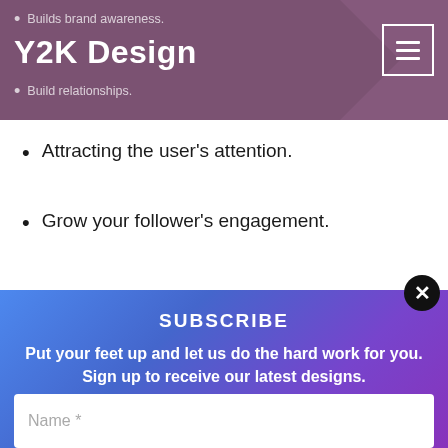Y2K Design
Attracting the user's attention.
Grow your follower's engagement.
You will get:
SUBSCRIBE
Put your feet up and let us do the hard work for you. Sign up to receive our latest designs.